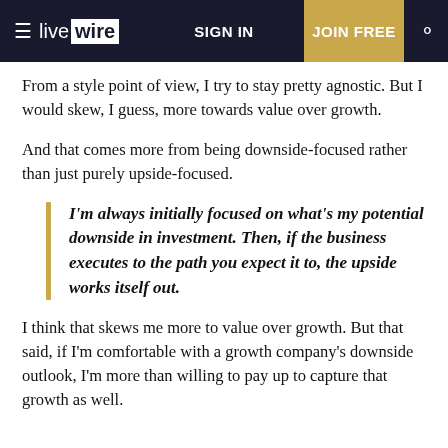live wire | SIGN IN | JOIN FREE
From a style point of view, I try to stay pretty agnostic. But I would skew, I guess, more towards value over growth.
And that comes more from being downside-focused rather than just purely upside-focused.
I'm always initially focused on what's my potential downside in investment. Then, if the business executes to the path you expect it to, the upside works itself out.
I think that skews me more to value over growth. But that said, if I'm comfortable with a growth company's downside outlook, I'm more than willing to pay up to capture that growth as well.